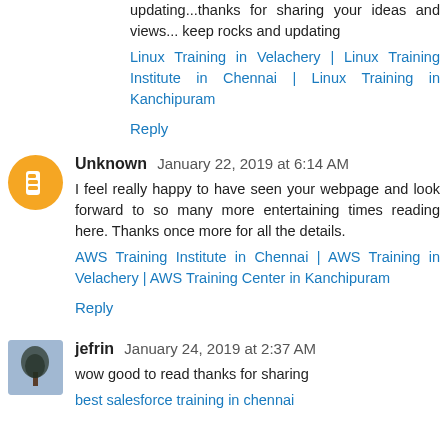updating...thanks for sharing your ideas and views... keep rocks and updating
Linux Training in Velachery | Linux Training Institute in Chennai | Linux Training in Kanchipuram
Reply
Unknown  January 22, 2019 at 6:14 AM
I feel really happy to have seen your webpage and look forward to so many more entertaining times reading here. Thanks once more for all the details.
AWS Training Institute in Chennai | AWS Training in Velachery | AWS Training Center in Kanchipuram
Reply
jefrin  January 24, 2019 at 2:37 AM
wow good to read thanks for sharing
best salesforce training in chennai